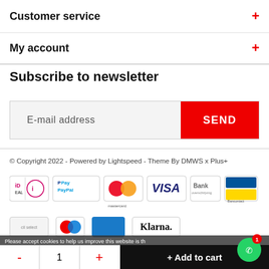Customer service +
My account +
Subscribe to newsletter
E-mail address  SEND
© Copyright 2022 - Powered by Lightspeed - Theme By DMWS x Plus+
[Figure (other): Payment method logos: iDEAL, PayPal, Mastercard, VISA, Bank overschrijving, Bancontact, and more including Klarna]
Please accept cookies to help us improve this website is th
- 1 +  + Add to cart